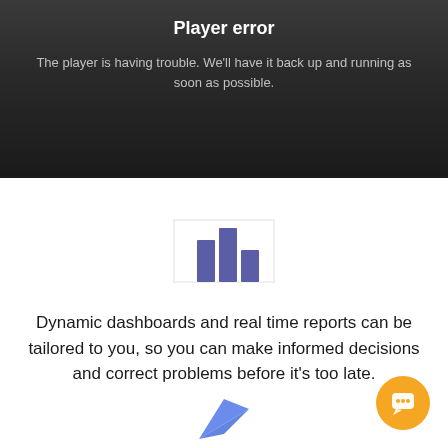Player error
The player is having trouble. We'll have it back up and running as soon as possible.
[Figure (illustration): Bar chart icon with three blue-purple bars of varying heights, partially enclosed by a light rectangular border outline]
Dynamic dashboards and real time reports can be tailored to you, so you can make informed decisions and correct problems before it's too late.
[Figure (illustration): Orange circular chat bubble button icon in bottom right corner]
[Figure (illustration): Blue paper plane / arrow icon partially visible at bottom center]